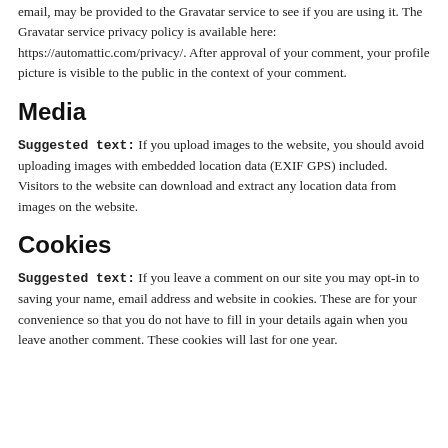email, may be provided to the Gravatar service to see if you are using it. The Gravatar service privacy policy is available here: https://automattic.com/privacy/. After approval of your comment, your profile picture is visible to the public in the context of your comment.
Media
Suggested text: If you upload images to the website, you should avoid uploading images with embedded location data (EXIF GPS) included. Visitors to the website can download and extract any location data from images on the website.
Cookies
Suggested text: If you leave a comment on our site you may opt-in to saving your name, email address and website in cookies. These are for your convenience so that you do not have to fill in your details again when you leave another comment. These cookies will last for one year.